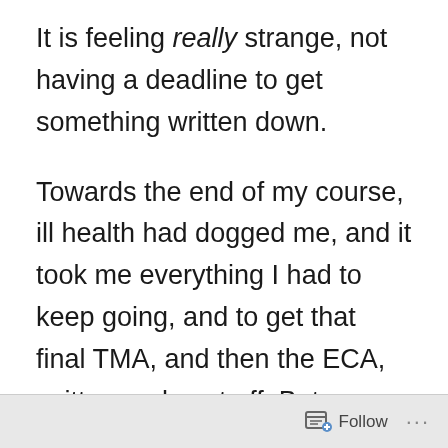It is feeling really strange, not having a deadline to get something written down.
Towards the end of my course, ill health had dogged me, and it took me everything I had to keep going, and to get that final TMA, and then the ECA, written and sent off. But, now it's all done, I feel quite empty, and am already looking forward to the beginning of A363 in October! I received my registration papers today for this course, and they…
Follow ···